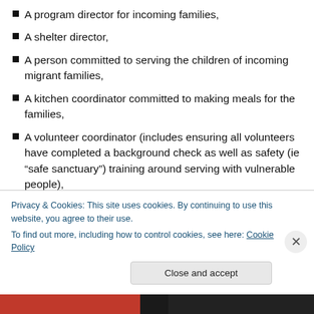A program director for incoming families,
A shelter director,
A person committed to serving the children of incoming migrant families,
A kitchen coordinator committed to making meals for the families,
A volunteer coordinator (includes ensuring all volunteers have completed a background check as well as safety (ie “safe sanctuary”) training around serving with vulnerable people),
A donations/supplies coordinator,
Privacy & Cookies: This site uses cookies. By continuing to use this website, you agree to their use.
To find out more, including how to control cookies, see here: Cookie Policy